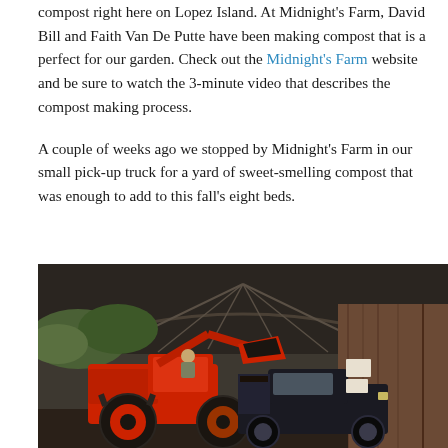compost right here on Lopez Island. At Midnight's Farm, David Bill and Faith Van De Putte have been making compost that is a perfect for our garden. Check out the Midnight's Farm website and be sure to watch the 3-minute video that describes the compost making process.
A couple of weeks ago we stopped by Midnight's Farm in our small pick-up truck for a yard of sweet-smelling compost that was enough to add to this fall’s eight beds.
[Figure (photo): A red tractor with a front loader bucket inside a large barn with a curved metal roof. A person is seated on the tractor. Next to the tractor is a black pickup truck. The barn has wooden walls on the right side and is open on the left, showing green trees outside.]